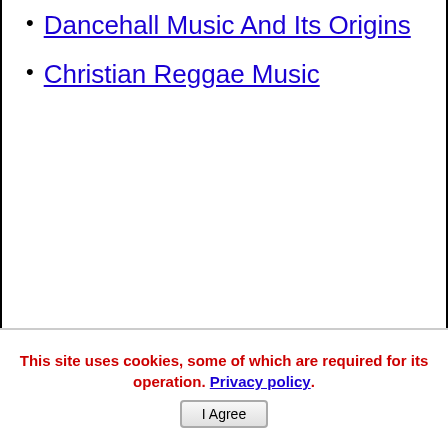Dancehall Music And Its Origins
Christian Reggae Music
This site uses cookies, some of which are required for its operation. Privacy policy.